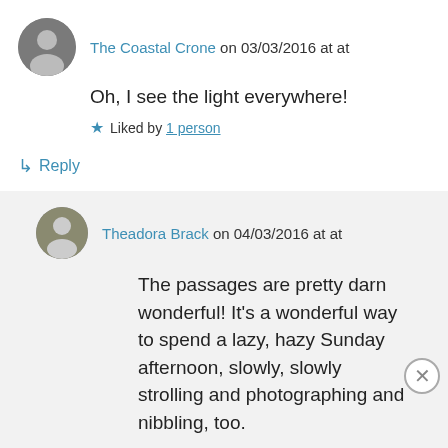The Coastal Crone on 03/03/2016 at at
Oh, I see the light everywhere!
★ Liked by 1 person
↳ Reply
Theadora Brack on 04/03/2016 at at
The passages are pretty darn wonderful! It's a wonderful way to spend a lazy, hazy Sunday afternoon, slowly, slowly strolling and photographing and nibbling, too.
Advertisements
Build a writing habit. Post on the go.
GET THE APP